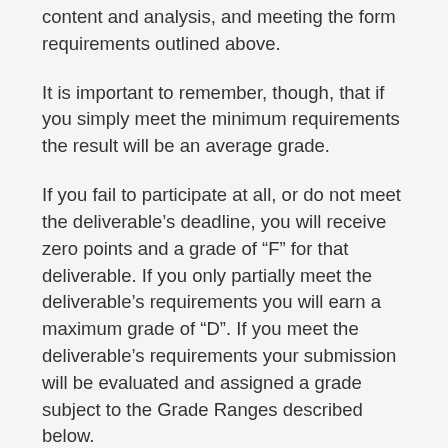content and analysis, and meeting the form requirements outlined above.
It is important to remember, though, that if you simply meet the minimum requirements the result will be an average grade.
If you fail to participate at all, or do not meet the deliverable's deadline, you will receive zero points and a grade of “F” for that deliverable. If you only partially meet the deliverable's requirements you will earn a maximum grade of “D”. If you meet the deliverable's requirements your submission will be evaluated and assigned a grade subject to the Grade Ranges described below.
I generally do not accept late submissions for credit unless you have experienced a real